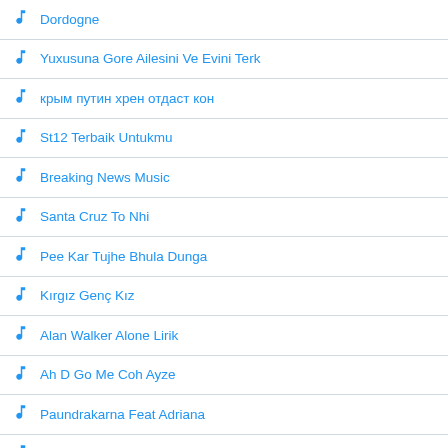Dordogne
Yuxusuna Gore Ailesini Ve Evini Terk
крым путин хрен отдаст кон
St12 Terbaik Untukmu
Breaking News Music
Santa Cruz To Nhi
Pee Kar Tujhe Bhula Dunga
Kırgız Genç Kız
Alan Walker Alone Lirik
Ah D Go Me Coh Ayze
Paundrakarna Feat Adriana
Nano Ripe Azalea
Do Dil
Gerry Feat Lala Widi